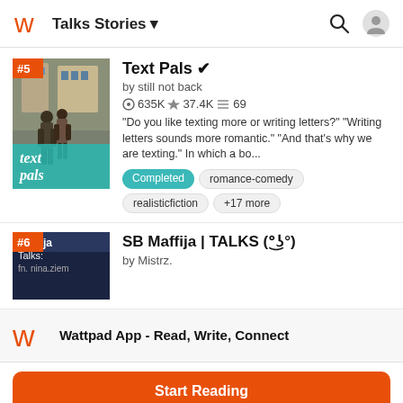Talks Stories
[Figure (screenshot): Book cover for Text Pals, showing two people walking, with teal overlay and white italic text reading 'text pals']
Text Pals ✓
by still not back
635K ★37.4K ≡69
"Do you like texting more or writing letters?" "Writing letters sounds more romantic." "And that's why we are texting." In which a bo...
Completed
romance-comedy
realisticfiction
+17 more
[Figure (screenshot): Book cover for SB Maffija | TALKS with dark blue background and white text]
SB Maffija | TALKS (°͜ʖ°)
by Mistrz.
Wattpad App - Read, Write, Connect
Start Reading
Log in with Browser